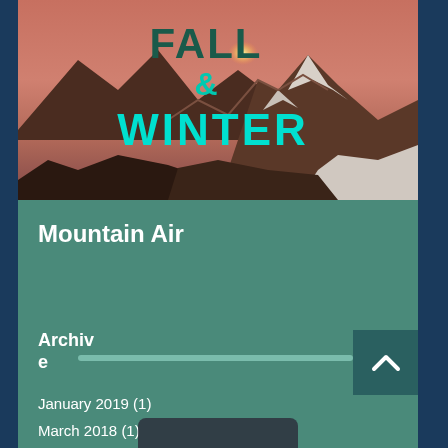[Figure (photo): Mountain landscape with snow-capped peaks at sunset/sunrise with pink sky. Text overlay reads FALL & WINTER in large bold typography — FALL in dark teal/green, & in teal, WINTER in bright cyan.]
Mountain Air
Archive
January 2019 (1)
March 2018 (1)
January 2018 (1)